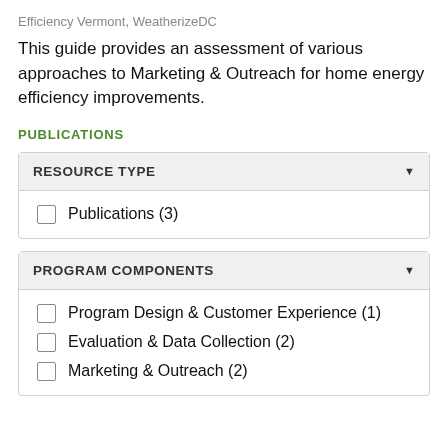Efficiency Vermont, WeatherizeDC
This guide provides an assessment of various approaches to Marketing & Outreach for home energy efficiency improvements.
PUBLICATIONS
| RESOURCE TYPE |
| --- |
| Publications (3) |
| PROGRAM COMPONENTS |
| --- |
| Program Design & Customer Experience (1) |
| Evaluation & Data Collection (2) |
| Marketing & Outreach (2) |